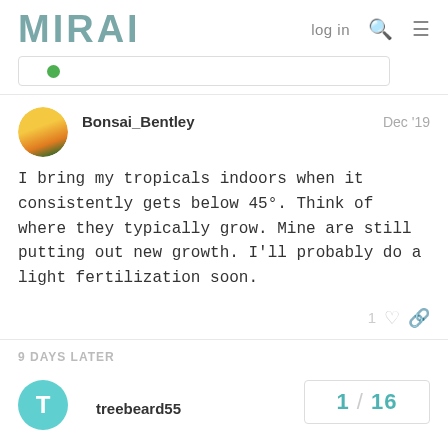MIRAI  log in
Bonsai_Bentley  Dec '19
I bring my tropicals indoors when it consistently gets below 45°. Think of where they typically grow. Mine are still putting out new growth. I'll probably do a light fertilization soon.
9 DAYS LATER
treebeard55  1 / 16